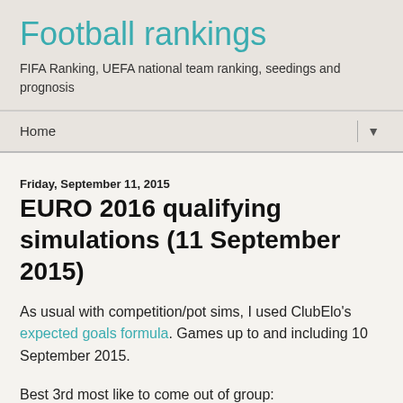Football rankings
FIFA Ranking, UEFA national team ranking, seedings and prognosis
Home
Friday, September 11, 2015
EURO 2016 qualifying simulations (11 September 2015)
As usual with competition/pot sims, I used ClubElo's expected goals formula. Games up to and including 10 September 2015.
Best 3rd most like to come out of group: